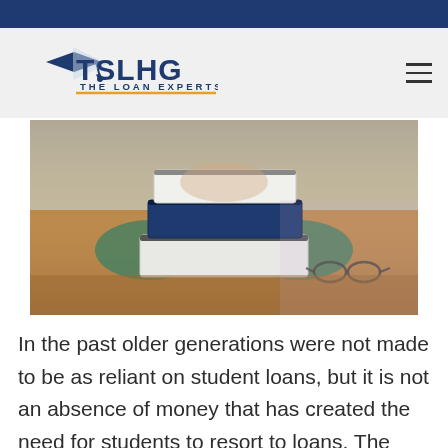[Figure (logo): TSLHG The Loan Experts logo with graduation cap icon]
[Figure (photo): Person hiding face behind a stack of books on a wooden table with glasses beside them]
In the past older generations were not made to be as reliant on student loans, but it is not an absence of money that has created the need for students to resort to loans. The increased cost of college, coupled with a decrease in college return on